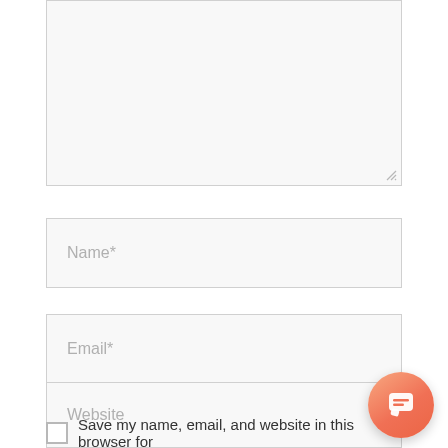[Figure (screenshot): A comment/text area input box (large textarea), partially shown, with light gray background and border, with a resize handle in the bottom-right corner.]
Name*
Email*
Website
Save my name, email, and website in this browser for
[Figure (illustration): Orange gradient circular chat bubble button in the bottom-right corner with a white speech bubble icon.]